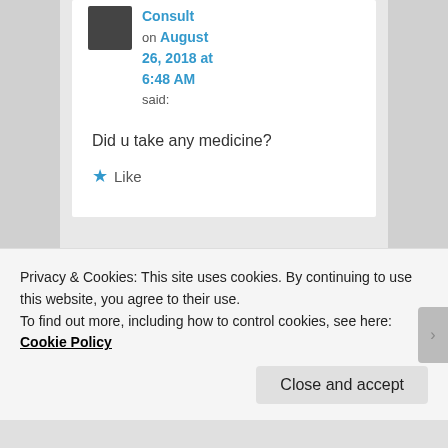Consult on August 26, 2018 at 6:48 AM said:
Did u take any medicine?
★ Like
esmeelafleur on August
Privacy & Cookies: This site uses cookies. By continuing to use this website, you agree to their use. To find out more, including how to control cookies, see here: Cookie Policy
Close and accept